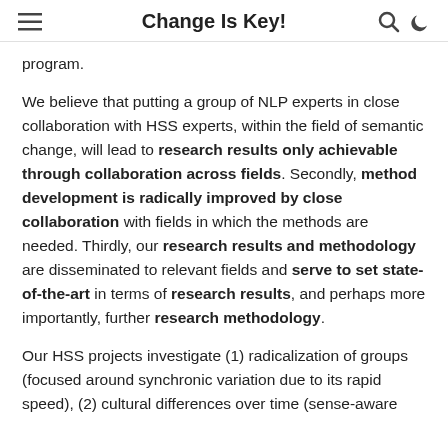Change Is Key!
program.
We believe that putting a group of NLP experts in close collaboration with HSS experts, within the field of semantic change, will lead to research results only achievable through collaboration across fields. Secondly, method development is radically improved by close collaboration with fields in which the methods are needed. Thirdly, our research results and methodology are disseminated to relevant fields and serve to set state-of-the-art in terms of research results, and perhaps more importantly, further research methodology.
Our HSS projects investigate (1) radicalization of groups (focused around synchronic variation due to its rapid speed), (2) cultural differences over time (sense-aware